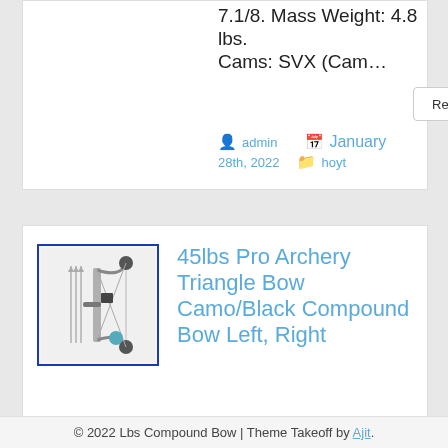7.1/8. Mass Weight: 4.8 lbs. Cams: SVX (Cam…
Read More ›
admin  January 28th, 2022  hoyt
[Figure (photo): Compound bow product image with accessories including arrows, sight, and stabilizer, shown against white background, bordered with dark blue frame]
45lbs Pro Archery Triangle Bow Camo/Black Compound Bow Left, Right
© 2022 Lbs Compound Bow | Theme Takeoff by Ajit.